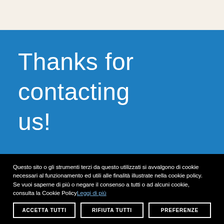Thanks for contacting us!
Questo sito o gli strumenti terzi da questo utilizzati si avvalgono di cookie necessari al funzionamento ed utili alle finalità illustrate nella cookie policy. Se vuoi saperne di più o negare il consenso a tutti o ad alcuni cookie, consulta la Cookie Policy Leggi di più
ACCETTA TUTTI
RIFIUTA TUTTI
PREFERENZE